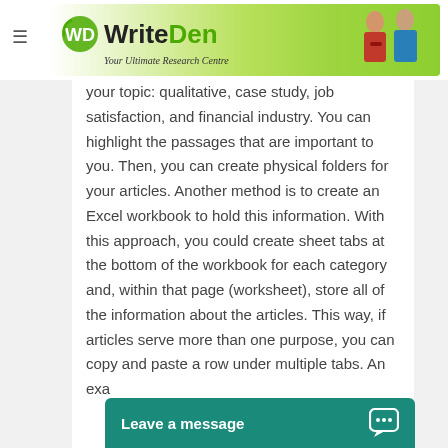WriteDen – Your Ultimate Research Centre
your topic: qualitative, case study, job satisfaction, and financial industry. You can highlight the passages that are important to you. Then, you can create physical folders for your articles. Another method is to create an Excel workbook to hold this information. With this approach, you could create sheet tabs at the bottom of the workbook for each category and, within that page (worksheet), store all of the information about the articles. This way, if articles serve more than one purpose, you can copy and paste a row under multiple tabs. An example... to collect fr...